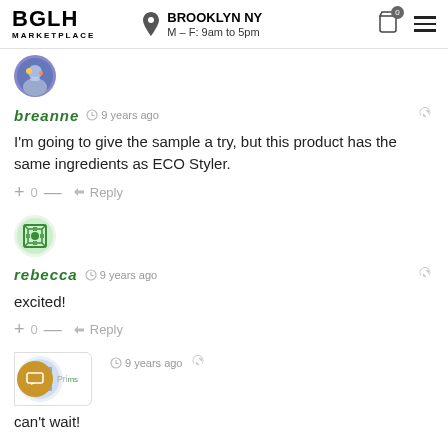BGLH MARKETPLACE | BROOKLYN NY M–F: 9am to 5pm
[Figure (illustration): User avatar for breanne - colorful circular avatar]
breanne  9 years ago
I'm going to give the sample a try, but this product has the same ingredients as ECO Styler.
+ 0 — Reply
[Figure (illustration): User avatar for rebecca - green decorative circular avatar]
rebecca  9 years ago
excited!
+ 0 — Reply
[Figure (illustration): Partially visible avatar for third commenter with chat widget overlay]
9 years ago
can't wait!